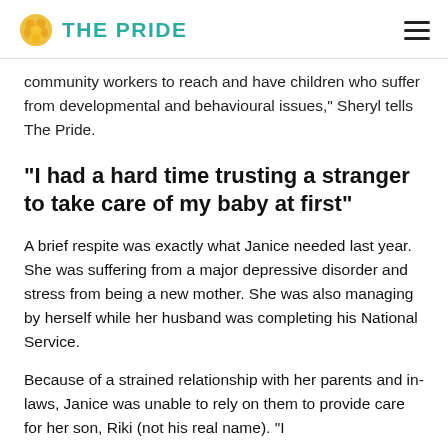THE PRIDE
community workers to reach and have children who suffer from developmental and behavioural issues," Sheryl tells The Pride.
“I had a hard time trusting a stranger to take care of my baby at first”
A brief respite was exactly what Janice needed last year. She was suffering from a major depressive disorder and stress from being a new mother. She was also managing by herself while her husband was completing his National Service.
Because of a strained relationship with her parents and in-laws, Janice was unable to rely on them to provide care for her son, Riki (not his real name). “I